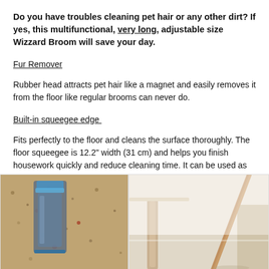Do you have troubles cleaning pet hair or any other dirt? If yes, this multifunctional, very long, adjustable size Wizzard Broom will save your day.
Fur Remover
Rubber head attracts pet hair like a magnet and easily removes it from the floor like regular brooms can never do.
Built-in squeegee edge
Fits perfectly to the floor and cleans the surface thoroughly. The floor squeegee is 12.2" width (31 cm) and helps you finish housework quickly and reduce cleaning time. It can be used as floor squeegee, water wiper or window squeegee.
[Figure (photo): Two product photos side by side: left shows a broom/squeegee head cleaning a sandy/dirty floor surface, right shows the broom being used near furniture on a light-colored floor.]